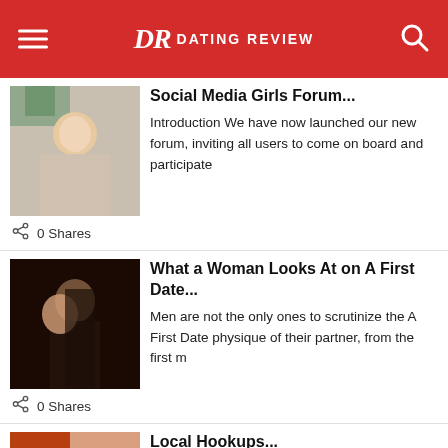DR Dating Review
Social Media Girls Forum...
Introduction We have now launched our new forum, inviting all users to come on board and participate
0 Shares
What a Woman Looks At on A First Date...
Men are not the only ones to scrutinize the A First Date physique of their partner, from the first m
0 Shares
Local Hookups...
Introduction The best free local hookups websites allow you to meet other people and have fun. These
0 Shares